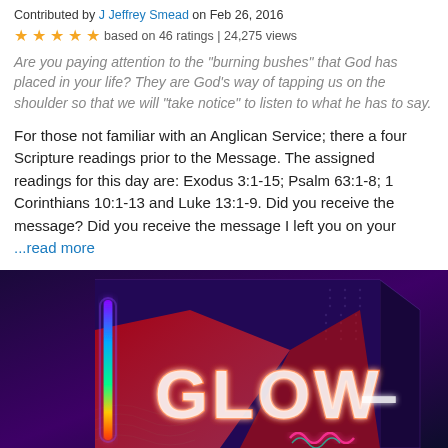Contributed by J Jeffrey Smead on Feb 26, 2016
★★★★★ based on 46 ratings | 24,275 views
Are you paying attention to the "burning bushes" that God has placed in your life? They are God's way of tapping us on the shoulder so that we will "take notice" to listen to what he has to say.
For those not familiar with an Anglican Service; there a four Scripture readings prior to the Message. The assigned readings for this day are: Exodus 3:1-15; Psalm 63:1-8; 1 Corinthians 10:1-13 and Luke 13:1-9. Did you receive the message? Did you receive the message I left you on your ...read more
Scripture: Exodus 3:1-15
Denomination: Anglican
[Figure (illustration): Advertisement image for 'GLOW' product, showing a dark purple/blue box with colorful neon-style lighting effects and the word GLOW in large illuminated letters]